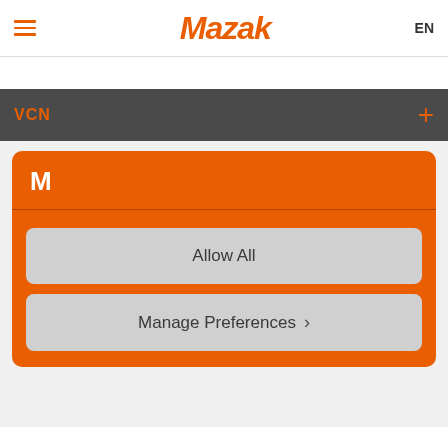[Figure (screenshot): Mazak website header with hamburger menu icon on left, Mazak orange italic logo in center, and EN language selector on right]
VCN
[Figure (screenshot): Orange cookie consent card with Mazak M logo, a horizontal divider, and two buttons: Allow All and Manage Preferences with chevron]